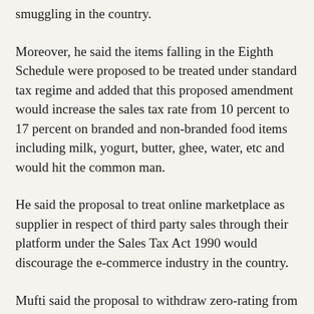smuggling in the country.
Moreover, he said the items falling in the Eighth Schedule were proposed to be treated under standard tax regime and added that this proposed amendment would increase the sales tax rate from 10 percent to 17 percent on branded and non-branded food items including milk, yogurt, butter, ghee, water, etc and would hit the common man.
He said the proposal to treat online marketplace as supplier in respect of third party sales through their platform under the Sales Tax Act 1990 would discourage the e-commerce industry in the country.
Mufti said the proposal to withdraw zero-rating from petroleum crude oil, parts/components of zero-rated plant